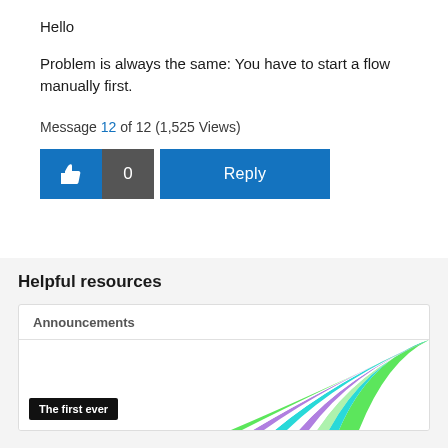Hello
Problem is always the same: You have to start a flow manually first.
Message 12 of 12 (1,525 Views)
[Figure (other): Like button with thumbs up icon and count 0, plus a Reply button]
Helpful resources
Announcements
[Figure (illustration): Colorful arcs illustration with purple, cyan and green stripes. A black label reads 'The first ever']